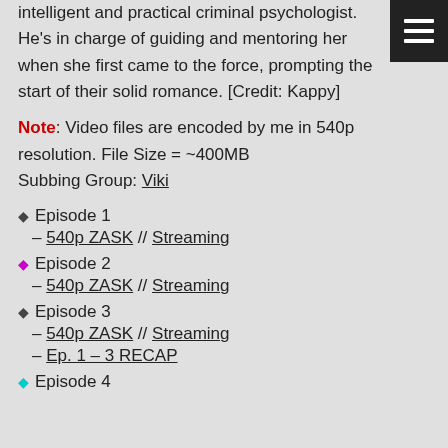intelligent and practical criminal psychologist. He's in charge of guiding and mentoring her when she first came to the force, prompting the start of their solid romance. [Credit: Kappy]
Note: Video files are encoded by me in 540p resolution. File Size = ~400MB Subbing Group: Viki
Episode 1 – 540p ZASK // Streaming
Episode 2 – 540p ZASK // Streaming
Episode 3 – 540p ZASK // Streaming – Ep. 1 – 3 RECAP
Episode 4